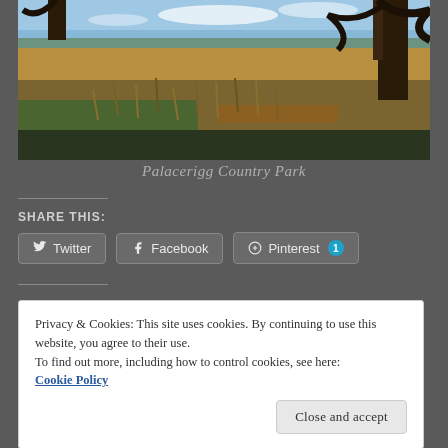[Figure (photo): Outdoor nature photo of Palacerigg Country Park showing wetland area with tall grasses, fallen logs, trees with foliage in foreground, open field and blue sky in background]
Palacerigg Country Park
SHARE THIS:
Twitter  Facebook  Pinterest 1
Privacy & Cookies: This site uses cookies. By continuing to use this website, you agree to their use.
To find out more, including how to control cookies, see here:
Cookie Policy
Close and accept